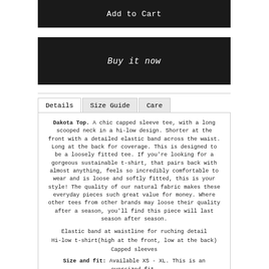[Figure (screenshot): Add to Cart button — dark/black rectangle with white text 'Add to Cart']
[Figure (screenshot): Buy it now button — dark/black rectangle with white italic text 'Buy it now']
Details | Size Guide | Care tabs
Dakota Top. A chic capped sleeve tee, with a long scooped neck in a hi-low design. Shorter at the front with a detailed elastic band across the waist. Long at the back for coverage. This is designed to be a loosely fitted tee. If you're looking for a gorgeous sustainable t-shirt, that pairs back with almost anything, feels so incredibly comfortable to wear and is loose and softly fitted, this is your style! The quality of our natural fabric makes these everyday pieces such great value for money. Where other tees from other brands may loose their quality after a season, you'll find this piece will last season after season.
Elastic band at waistline for ruching detail
Hi-low t-shirt (high at the front, low at the back)
Capped sleeves
Size and fit: Available XS - XL. This is an oversized fit.
Made from natural fabric: A luxury natural & Eco-friendly fabric